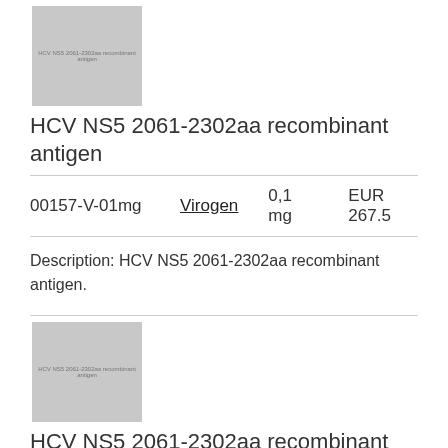[Figure (photo): Gray placeholder image of HCV NS5 2061-2302aa recombinant antigen product]
HCV NS5 2061-2302aa recombinant antigen
| Cat No. | Supplier | Qty | Price |
| --- | --- | --- | --- |
| 00157-V-01mg | Virogen | 0,1 mg | EUR 267.5 |
Description: HCV NS5 2061-2302aa recombinant antigen.
[Figure (photo): Gray placeholder image of HCV NS5 2061-2302aa recombinant antigen product (second listing)]
HCV NS5 2061-2302aa recombinant antigen